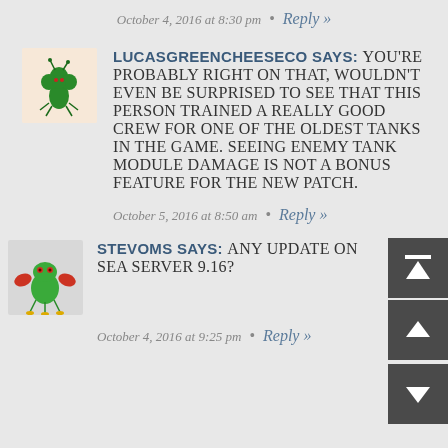October 4, 2016 at 8:30 pm  •  Reply »
LUCASGREENCHEESECO SAYS: You're probably right on that, wouldn't even be surprised to see that this person trained a really good crew for one of the oldest tanks in the game. Seeing enemy tank module damage is not a bonus feature for the new patch.
October 5, 2016 at 8:50 am  •  Reply »
STEVOMS SAYS: Any update on SEA server 9.16?
October 4, 2016 at 9:25 pm  •  Reply »